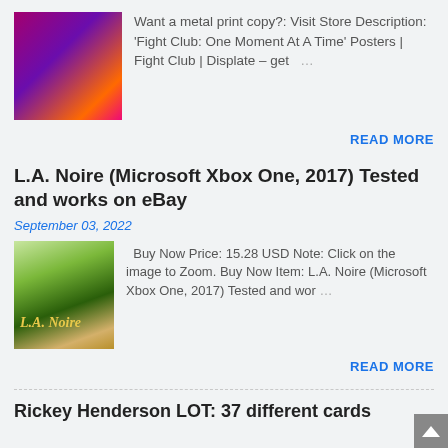[Figure (photo): Fight Club movie poster thumbnail with pink/purple/dark tones, silhouette of person]
Want a metal print copy?: Visit Store Description: ‘Fight Club: One Moment At A Time’ Posters | Fight Club | Displate – get …
READ MORE
L.A. Noire (Microsoft Xbox One, 2017) Tested and works on eBay
September 03, 2022
[Figure (photo): L.A. Noire Xbox One game case with green border and cover art]
Buy Now Price: 15.28 USD Note: Click on the image to Zoom. Buy Now Item: L.A. Noire (Microsoft Xbox One, 2017) Tested and wor…
READ MORE
Rickey Henderson LOT: 37 different cards